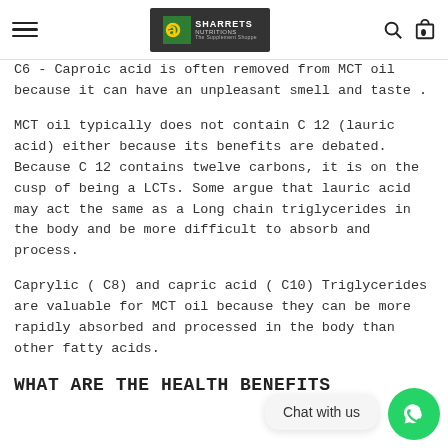Sharrets Nutritions — The Supplement Shoppe
C6 - Caproic acid is often removed from MCT oil because it can have an unpleasant smell and taste .
MCT oil typically does not contain C 12 (lauric acid) either because its benefits are debated. Because C 12 contains twelve carbons, it is on the cusp of being a LCTs. Some argue that lauric acid may act the same as a Long chain triglycerides in the body and be more difficult to absorb and process.
Caprylic ( C8) and capric acid ( C10) Triglycerides are valuable for MCT oil because they can be more rapidly absorbed and processed in the body than other fatty acids.
WHAT ARE THE HEALTH BENEFITS